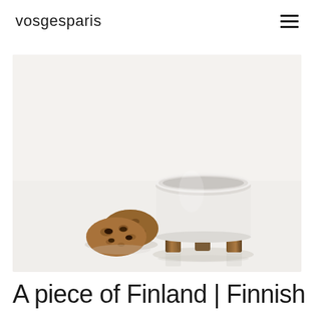vosgesparis
[Figure (photo): A white ceramic bowl sitting on a wooden stand/base with three vertical wood slats, placed next to two chocolate chip cookies on a white surface.]
A piece of Finland | Finnish